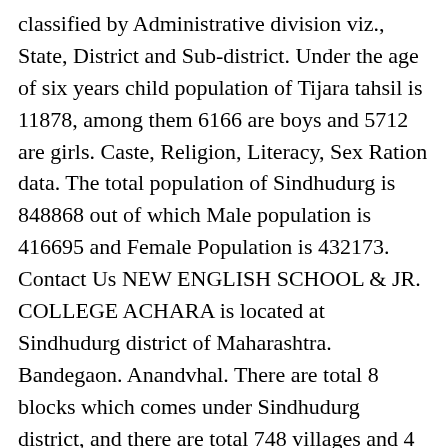classified by Administrative division viz., State, District and Sub-district. Under the age of six years child population of Tijara tahsil is 11878, among them 6166 are boys and 5712 are girls. Caste, Religion, Literacy, Sex Ration data. The total population of Sindhudurg is 848868 out of which Male population is 416695 and Female Population is 432173. Contact Us NEW ENGLISH SCHOOL & JR. COLLEGE ACHARA is located at Sindhudurg district of Maharashtra. Bandegaon. Anandvhal. There are total 8 blocks which comes under Sindhudurg district, and there are total 748 villages and 4 town areas which comes under this district. Amdos. Below is list of all towns in Sawantwadi Taluka with List of Villages. Chandoshi. LIST OF FARMS REGISTERED IN SINDHUDURG DISTRICT * Valid for 5 Years from the Date of Issue. Cities and towns in Satara district (4 C, 35